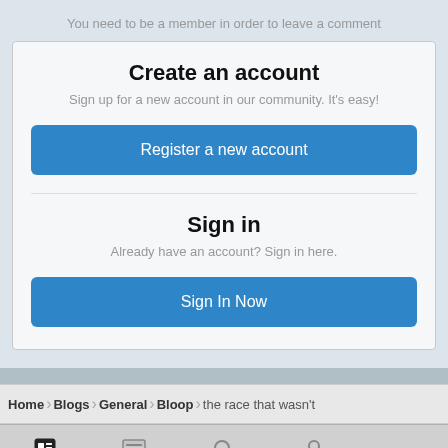You need to be a member in order to leave a comment
Create an account
Sign up for a new account in our community. It's easy!
Register a new account
Sign in
Already have an account? Sign in here.
Sign In Now
Home  Blogs  General  Bloop  the race that wasn't
Blogs  Unread  Search  Sign In  More